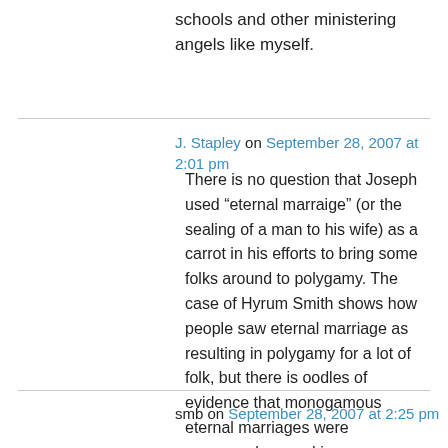schools and other ministering angels like myself.
J. Stapley on September 28, 2007 at 2:01 pm
There is no question that Joseph used “eternal marraige” (or the sealing of a man to his wife) as a carrot in his efforts to bring some folks around to polygamy. The case of Hyrum Smith shows how people saw eternal marriage as resulting in polygamy for a lot of folk, but there is oodles of evidence that monogamous eternal marriages were commonplace and in no way deficient.
smb on September 28, 2007 at 2:25 pm